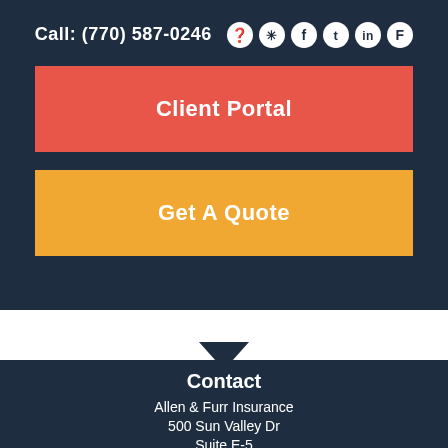Call: (770) 587-0246
Client Portal
Get A Quote
Contact
Allen & Furr Insurance
500 Sun Valley Dr
Suite E-5